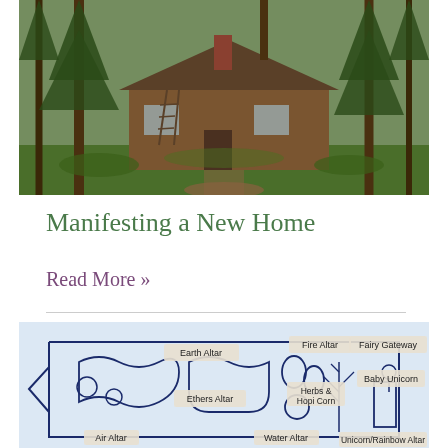[Figure (photo): A rustic wooden log cabin in a dense forest with tall pine trees, a metal roof, and a dirt path leading to it. Surrounded by green moss and grass.]
Manifesting a New Home
Read More »
[Figure (schematic): A hand-drawn schematic diagram of a sacred space or garden layout with labeled altars: Earth Altar, Fire Altar, Fairy Gateway, Ethers Altar, Baby Unicorn, Herbs & Hopi Corn, Air Altar, Water Altar, Unicorn/Rainbow Altar]